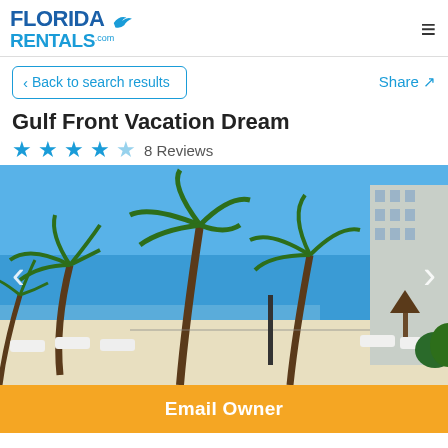FLORIDA RENTALS.com
Back to search results
Share
Gulf Front Vacation Dream
8 Reviews
[Figure (photo): Beach scene with palm trees, white sand, lounge chairs, and a building on the right. Blue sky and Gulf water visible in the background.]
Email Owner